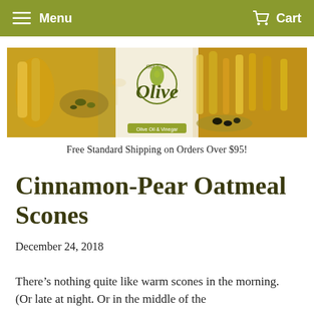Menu   Cart
[Figure (photo): Banner image showing olive oils in bottles and bowls with olives, and Old Town Olive logo in the center]
Free Standard Shipping on Orders Over $95!
Cinnamon-Pear Oatmeal Scones
December 24, 2018
There’s nothing quite like warm scones in the morning. (Or late at night. Or in the middle of the